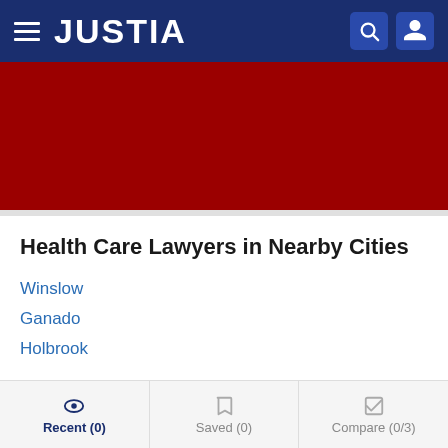JUSTIA
[Figure (screenshot): Red banner advertisement area]
Health Care Lawyers in Nearby Cities
Winslow
Ganado
Holbrook
Health Care Lawyers in Nearby Counties
Recent (0)  Saved (0)  Compare (0/3)